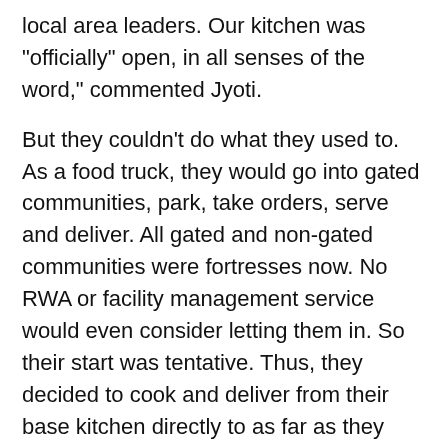local area leaders. Our kitchen was "officially" open, in all senses of the word," commented Jyoti.
But they couldn't do what they used to. As a food truck, they would go into gated communities, park, take orders, serve and deliver. All gated and non-gated communities were fortresses now. No RWA or facility management service would even consider letting them in. So their start was tentative. Thus, they decided to cook and deliver from their base kitchen directly to as far as they could reach on a cycle, delivering to the customers at their gates. "We messaged our customers and got started," she asserted.
"People are scared- of the disease, for their jobs, of the food even. They are cautious and tight fisted. So demand has been low. We received many calls, even from our regular customers, asking us how the food was being prepared, packed and delivered, only to change their minds midway out of fear. This was a luxury they could do without. But we soldiered on because if we didn't, we become irrelevant and we are forgotten and soon dead.